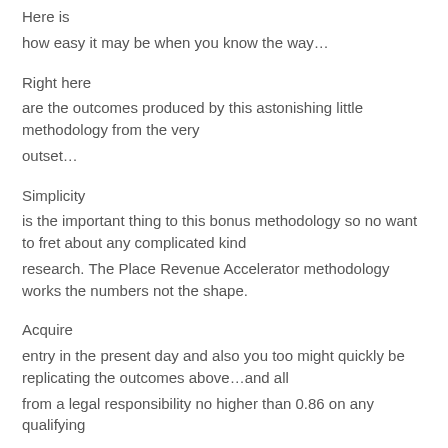Here is
how easy it may be when you know the way…
Right here
are the outcomes produced by this astonishing little methodology from the very outset…
Simplicity
is the important thing to this bonus methodology so no want to fret about any complicated kind research. The Place Revenue Accelerator methodology works the numbers not the shape.
Acquire
entry in the present day and also you too might quickly be replicating the outcomes above…and all from a legal responsibility no higher than 0.86 on any qualifying